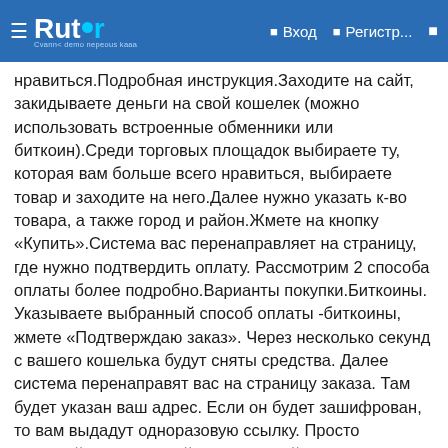Rutor — Вход — Регистр...
нравиться.Подробная инструкция.Заходите на сайт, закидываете деньги на свой кошелек (можно использовать встроенные обменники или биткоин).Среди торговых площадок выбираете ту, которая вам больше всего нравиться, выбираете товар и заходите на него.Далее нужно указать к-во товара, а также город и район.Жмете на кнопку «Купить».Система вас перенаправляет на страницу, где нужно подтвердить оплату. Рассмотрим 2 способа оплаты более подробно.Варианты покупки.Биткоины. Указываете выбранный способ оплаты -биткоины, жмете «Подтверждаю заказ». Через несколько секунд с вашего кошелька будут сняты средства. Далее система перенаправят вас на страницу заказа. Там будет указан ваш адрес. Если он будет зашифрован, то вам выдадут одноразовую ссылку. Просто скопируйте ее и откройте в адресной строке.Киви. Покупка за киви возможно после первого заказа. Вводите номер киви-кошелька и жмете «подтверждаю заказ. Вы попадает на страницу заказа. У вас есть полчаса, чтобы оформить заказ.Важно! Если на балансе больше средств, чем стоимость товара, то остаток